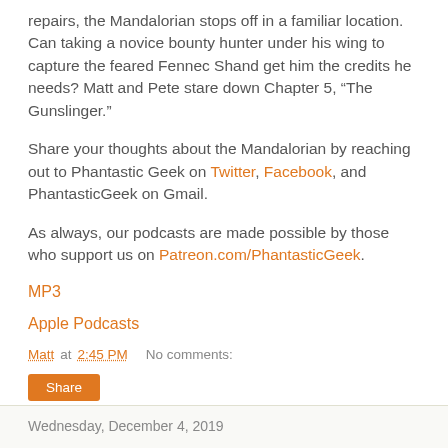repairs, the Mandalorian stops off in a familiar location. Can taking a novice bounty hunter under his wing to capture the feared Fennec Shand get him the credits he needs? Matt and Pete stare down Chapter 5, “The Gunslinger.”
Share your thoughts about the Mandalorian by reaching out to Phantastic Geek on Twitter, Facebook, and PhantasticGeek on Gmail.
As always, our podcasts are made possible by those who support us on Patreon.com/PhantasticGeek.
MP3
Apple Podcasts
Matt at 2:45 PM    No comments:
Share
Wednesday, December 4, 2019